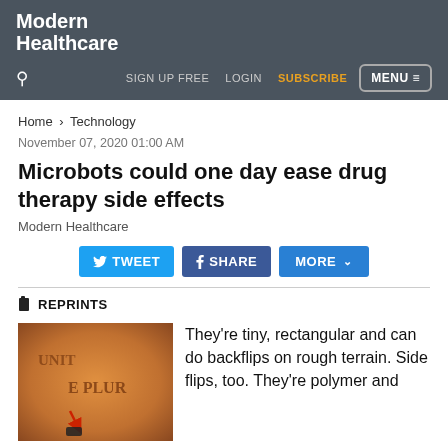Modern Healthcare
SIGN UP FREE  LOGIN  SUBSCRIBE  MENU
Home > Technology
November 07, 2020 01:00 AM
Microbots could one day ease drug therapy side effects
Modern Healthcare
TWEET  SHARE  MORE
REPRINTS
[Figure (photo): Close-up photo of a penny coin showing 'E PLUR' text and a tiny microbot with a red arrow pointing to it]
They're tiny, rectangular and can do backflips on rough terrain. Side flips, too. They're polymer and